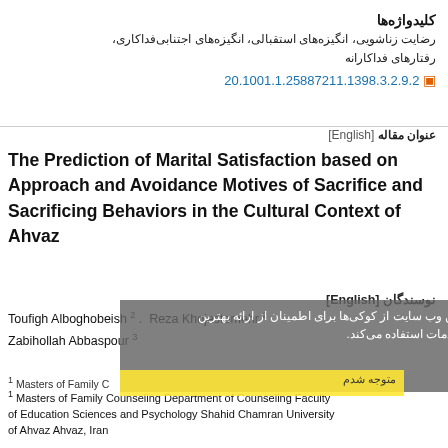کلیدواژه‌ها
رضایت زناشویی، انگیزه‌های استقبالی، انگیزه‌های اجتنابی‌فداکاری، رفتارهای فداکارانه
20.1001.1.25887211.1398.3.2.9.2
عنوان مقاله [English]
The Prediction of Marital Satisfaction based on Approach and Avoidance Motives of Sacrifice and Sacrificing Behaviors in the Cultural Context of Ahvaz
نوسندگان [English]
این وب سایت از کوکی‌ها برای اطمینان از ارائه بهترین خدمات استفاده می‌کند.
متوجه شدم
Toufigh Alboghobeish 2 .  Reza Khojastemehr 2 . Zabihollah Abbaspour 3
1 Masters of Family Counseling Department of Counseling Faculty of Education Sciences and Psychology Shahid Chamran University of Ahvaz Ahvaz, Iran